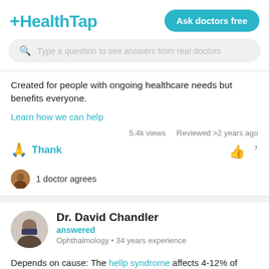HealthTap | Ask doctors free
Type a question to see answers from real doctors
Created for people with ongoing healthcare needs but benefits everyone.
Learn how we can help
5.4k views   Reviewed >2 years ago
Thank
1 doctor agrees
Dr. David Chandler
answered
Ophthalmology • 34 years experience
Depends on cause: The hellp syndrome affects 4-12% of